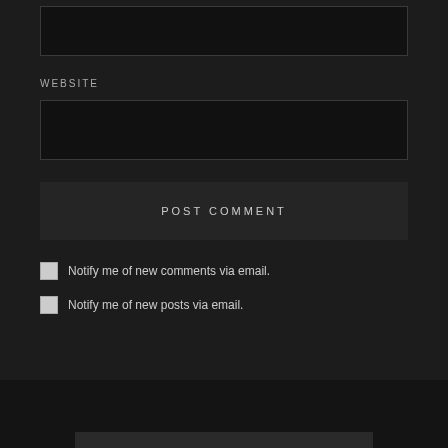[Figure (screenshot): Text input box at top of page, dark background]
WEBSITE
[Figure (screenshot): Website text input box, dark background]
[Figure (screenshot): POST COMMENT button, dark background]
Notify me of new comments via email.
Notify me of new posts via email.